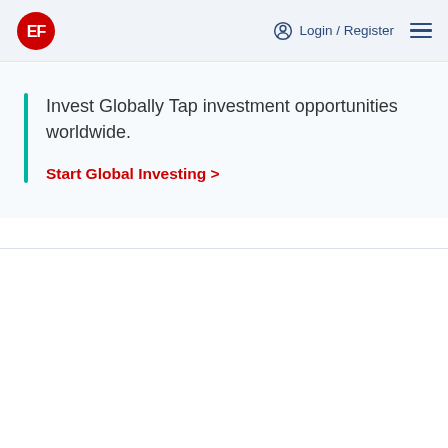EF logo | Login / Register | Menu
Invest Globally Tap investment opportunities worldwide.
Start Global Investing >